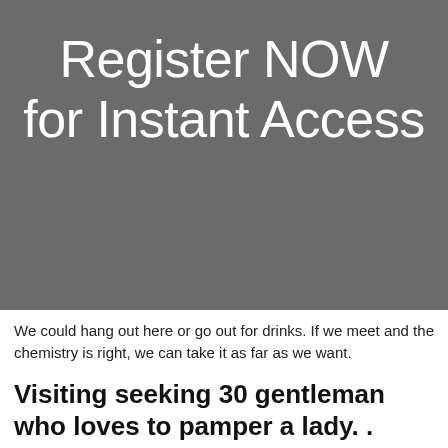[Figure (other): Dark grey banner with white text reading 'Register NOW for Instant Access']
We could hang out here or go out for drinks. If we meet and the chemistry is right, we can take it as far as we want.
Visiting seeking 30 gentleman who loves to pamper a lady. .